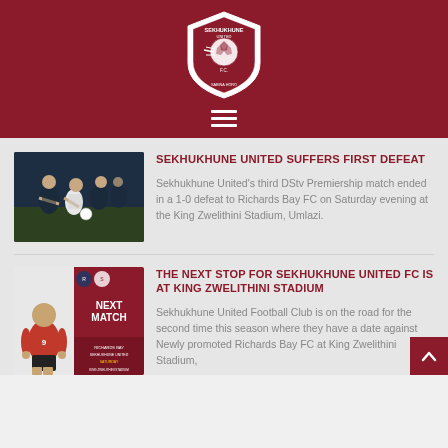[Figure (logo): Sekhukhune United FC shield logo in white on dark red background with text SEKHUKHUNE UNITED FC SABINA HORO]
[Figure (photo): Soccer match photo showing players in action on the field, dark blue and white uniforms]
SEKHUKHUNE UNITED SUFFERS FIRST DEFEAT
Sekhukhune United's third DStv Premiership match ended in a 1-0 defeat to Richards Bay FC on Saturday evening at the King Zwelithini Stadium, Umlazi.
[Figure (photo): Next Match promotional graphic with player in red Sekhukhune United kit, text NEXT MATCH Richards Bay vs Sekhukhune United, Saturday]
THE NEXT STOP FOR SEKHUKHUNE UNITED FC IS AT KING ZWELITHINI STADIUM
Sekhukhune United Football Club is on the road for the second time this season where they have a date against Newly promoted Richards Bay FC at King Zwelithini Stadium, Richards Bay, Saturday